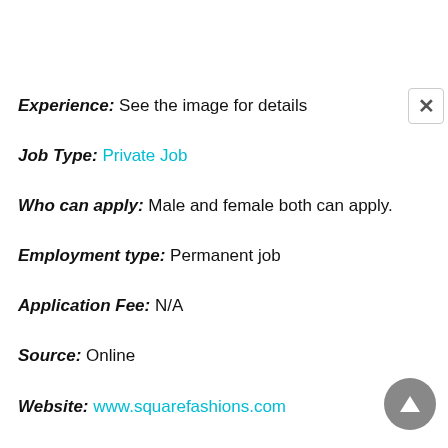Experience: See the image for details
Job Type: Private Job
Who can apply: Male and female both can apply.
Employment type: Permanent job
Application Fee: N/A
Source: Online
Website: www.squarefashions.com